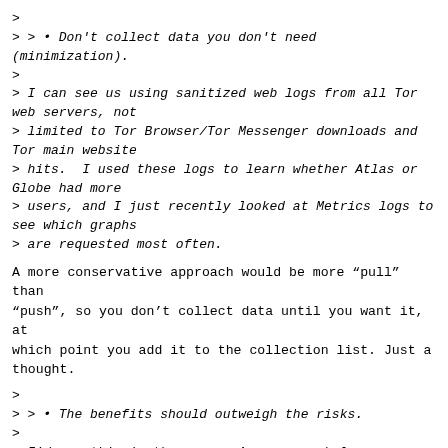>
> > • Don't collect data you don't need (minimization).
>
> I can see us using sanitized web logs from all Tor web servers, not
> limited to Tor Browser/Tor Messenger downloads and Tor main website
> hits.  I used these logs to learn whether Atlas or Globe had more
> users, and I just recently looked at Metrics logs to see which graphs
> are requested most often.
A more conservative approach would be more “pull” than “push”, so you don’t collect data until you want it, at which point you add it to the collection list. Just a thought.
>
> > • The benefits should outweigh the risks.
>
> I'd say this is the case.  As you say below yourself, there is value
> of analyzing these logs, and I agree.  I have also been thinking a lot
> about possible risks, which resulted in the sanitizing procedure that
> is in place, which comes after the very restrictive logging policy at
> Tor's Apache processes, which throws away client IP